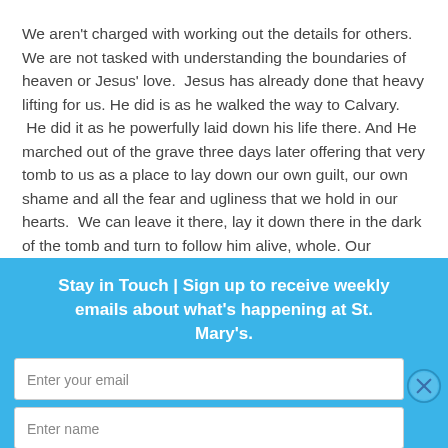We aren't charged with working out the details for others. We are not tasked with understanding the boundaries of heaven or Jesus' love. Jesus has already done that heavy lifting for us. He did is as he walked the way to Calvary. He did it as he powerfully laid down his life there. And He marched out of the grave three days later offering that very tomb to us as a place to lay down our own guilt, our own shame and all the fear and ugliness that we hold in our hearts. We can leave it there, lay it down there in the dark of the tomb and turn to follow him alive, whole. Our
Stay in Touch | Sign up to receive weekly emails about what's happening at St. Mary's.
Enter your email
Enter name
Subscribe